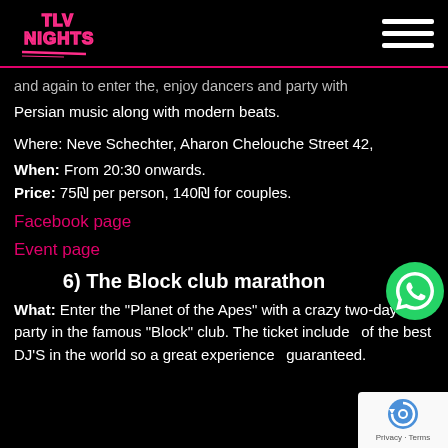TLV NIGHTS logo and hamburger menu
and again to enter the, enjoy dancers and party with Persian music along with modern beats.
Where: Neve Schechter,  Aharon Chelouche Street 42,
When: From 20:30 onwards.
Price: 75₪ per person, 140₪ for couples.
Facebook page
Event page
6) The Block club marathon
What: Enter the “Planet of the Apes” with a crazy two-day party in the famous “Block” club. The ticket includes of the best DJ'S in the world so a great experience guaranteed.